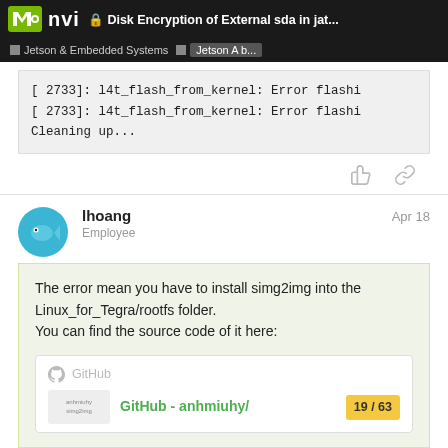Disk Encryption of External sda in jat... | Jetson & Embedded Systems | Jetson A b...
[ 2733]: l4t_flash_from_kernel: Error flashi
[ 2733]: l4t_flash_from_kernel: Error flashi
Cleaning up...
lhoang   Employee   Apr 18
The error mean you have to install simg2img into the Linux_for_Tegra/rootfs folder.
You can find the source code of it here:
[Figure (screenshot): GitHub link card showing GitHub logo and 'GitHub - anhmiuhy/...' link text with page counter '19/63']